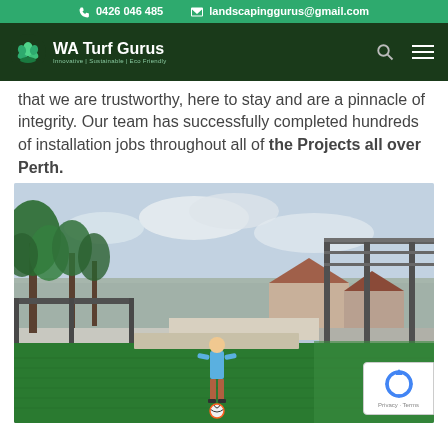0426 046 485   landscapinggurus@gmail.com
[Figure (logo): WA Turf Gurus logo with leaf/plant icon and tagline 'Innovative | Sustainable | Eco Friendly']
that we are trustworthy, here to stay and are a pinnacle of integrity. Our team has successfully completed hundreds of installation jobs throughout all of the Projects all over Perth.
[Figure (photo): Child standing on artificial turf in a backyard garden area with palm trees, pergola, and suburban houses visible in background. A soccer ball is near the child's feet.]